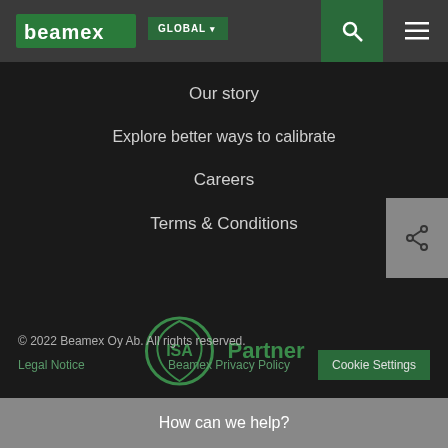beamex GLOBAL
Our story
Explore better ways to calibrate
Careers
Terms & Conditions
[Figure (logo): ISA Partner logo — circular ISA emblem with 'Partner' text]
© 2022 Beamex Oy Ab. All rights reserved.
Legal Notice   Beamex Privacy Policy   Cookie Settings
How can we help?